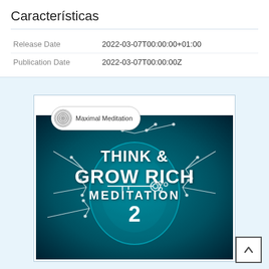Características
| Release Date | 2022-03-07T00:00:00+01:00 |
| Publication Date | 2022-03-07T00:00:00Z |
[Figure (photo): Album art for 'Think & Grow Rich Meditation 2' by Maximal Meditation, showing a glowing teal human brain with white botanical decorations and text overlay. A podcast label with logo is shown above the image.]